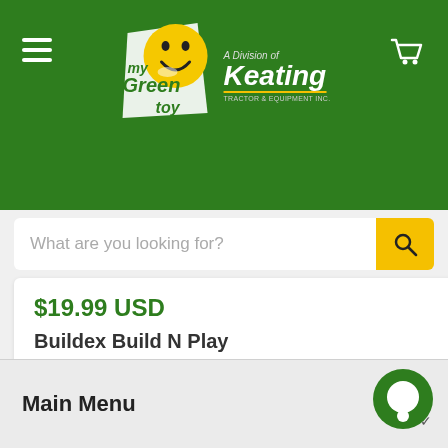[Figure (logo): myGreenToy logo with smiley face and 'A Division of Keating Tractor & Equipment Inc.' text on dark green header]
What are you looking for?
$19.99 USD
Buildex Build N Play Model 60 Kit
mygreentoy.com
Main Menu